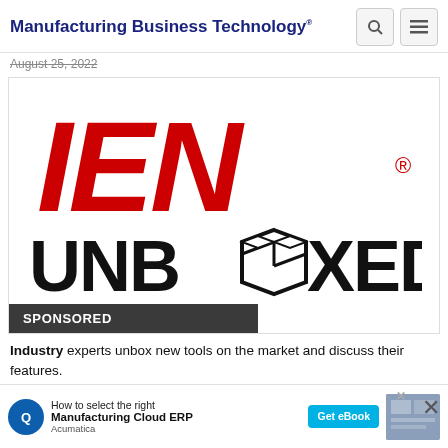Manufacturing Business Technology
August 25, 2022
[Figure (logo): IEN Unboxed logo — bold red italic letters 'IEN' above large black 'UNBOXED' text with an open box icon replacing the 'O']
SPONSORED
Industry experts unbox new tools on the market and discuss their features.
IEN Unboxed — How to select the right Manufacturing Cloud ERP — Acumatica — Get eBook